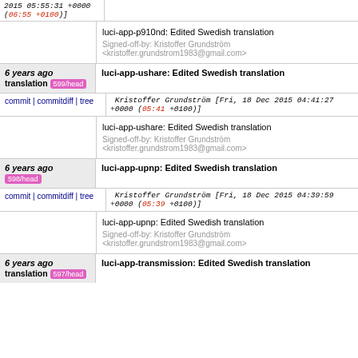2015 05:55:31 +0000 (06:55 +0100)]
luci-app-p910nd: Edited Swedish translation
Signed-off-by: Kristoffer Grundström <kristoffer.grundstrom1983@gmail.com>
6 years ago luci-app-ushare: Edited Swedish translation 599/head
commit | commitdiff | tree  Kristoffer Grundström [Fri, 18 Dec 2015 04:41:27 +0000 (05:41 +0100)]
luci-app-ushare: Edited Swedish translation
Signed-off-by: Kristoffer Grundström <kristoffer.grundstrom1983@gmail.com>
6 years ago luci-app-upnp: Edited Swedish translation 598/head
commit | commitdiff | tree  Kristoffer Grundström [Fri, 18 Dec 2015 04:39:59 +0000 (05:39 +0100)]
luci-app-upnp: Edited Swedish translation
Signed-off-by: Kristoffer Grundström <kristoffer.grundstrom1983@gmail.com>
6 years ago luci-app-transmission: Edited Swedish translation 597/head